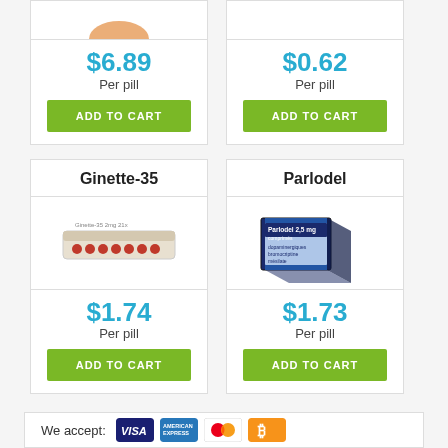[Figure (photo): Partial view of top row product cards showing $6.89 and $0.62 per pill prices with ADD TO CART buttons]
$6.89
Per pill
$0.62
Per pill
ADD TO CART
ADD TO CART
Ginette-35
[Figure (photo): Ginette-35 pill blister pack product image]
$1.74
Per pill
ADD TO CART
Parlodel
[Figure (photo): Parlodel 2.5mg comprimés medicine box product image]
$1.73
Per pill
ADD TO CART
We accept:
[Figure (logo): Payment icons: Visa, American Express, Mastercard, Bitcoin]